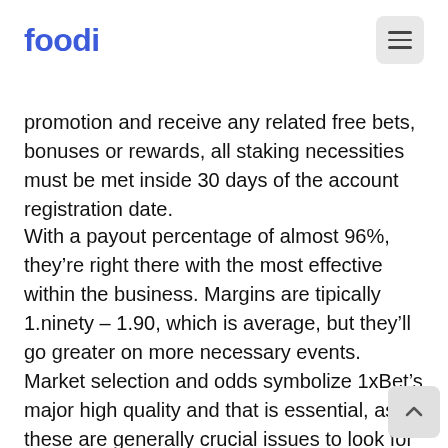foodi
promotion and receive any related free bets, bonuses or rewards, all staking necessities must be met inside 30 days of the account registration date.
With a payout percentage of almost 96%, they’re right there with the most effective within the business. Margins are tipically 1.ninety – 1.90, which is average, but they’ll go greater on more necessary events. Market selection and odds symbolize 1xBet’s major high quality and that is essential, as these are generally crucial issues to look for in a bookmaker. It comes after the membership spent over £80 million signing the likes of Tanguy Ndombe and Ryan Sessegnon through the summer season.